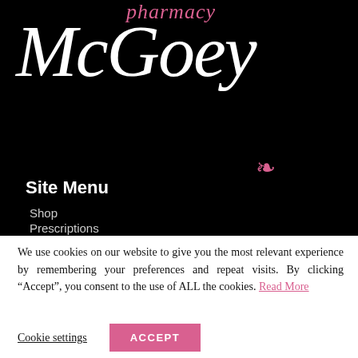[Figure (logo): McGoey Pharmacy logo: large white italic serif 'McGoey' text with pink 'pharmacy' above and a pink decorative symbol below, on black background]
Site Menu
Shop
Prescriptions
We use cookies on our website to give you the most relevant experience by remembering your preferences and repeat visits. By clicking “Accept”, you consent to the use of ALL the cookies. Read More
Cookie settings | ACCEPT